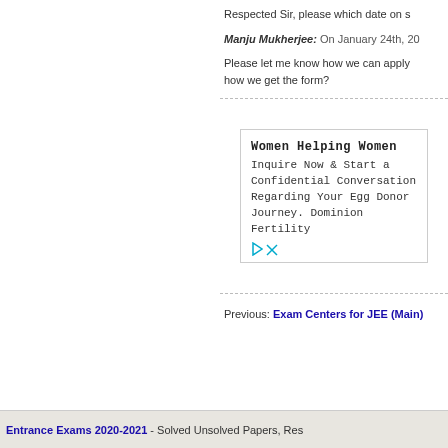Respected Sir, please which date on s
Manju Mukherjee: On January 24th, 20
Please let me know how we can apply how we get the form?
[Figure (infographic): Advertisement box: Women Helping Women - Inquire Now & Start a Confidential Conversation Regarding Your Egg Donor Journey. Dominion Fertility]
Previous: Exam Centers for JEE (Main)
Entrance Exams 2020-2021 - Solved Unsolved Papers, Res